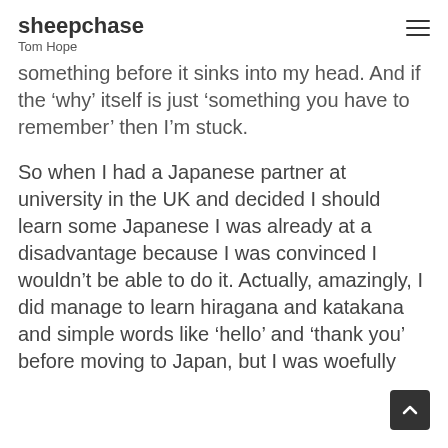sheepchase
Tom Hope
something before it sinks into my head. And if the ‘why’ itself is just ‘something you have to remember’ then I’m stuck.
So when I had a Japanese partner at university in the UK and decided I should learn some Japanese I was already at a disadvantage because I was convinced I wouldn’t be able to do it. Actually, amazingly, I did manage to learn hiragana and katakana and simple words like ‘hello’ and ‘thank you’ before moving to Japan, but I was woefully